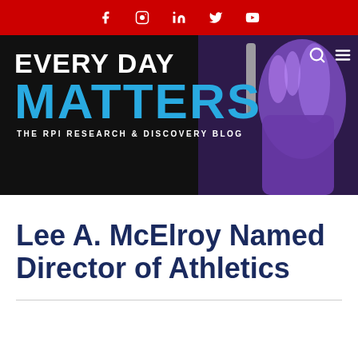Social media icons: Facebook, Instagram, LinkedIn, Twitter, YouTube
[Figure (screenshot): Every Day Matters - The RPI Research & Discovery Blog banner with black background, white bold text 'EVERY DAY', blue bold text 'MATTERS', white subtitle 'THE RPI RESEARCH & DISCOVERY BLOG', and a purple-gloved hand holding a test tube on the right side. Search and menu icons top right.]
Lee A. McElroy Named Director of Athletics